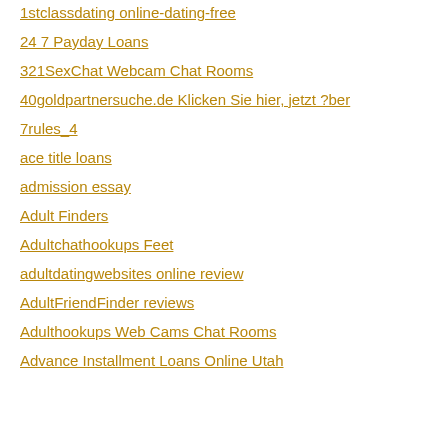1stclassdating online-dating-free
24 7 Payday Loans
321SexChat Webcam Chat Rooms
40goldpartnersuche.de Klicken Sie hier, jetzt ?ber
7rules_4
ace title loans
admission essay
Adult Finders
Adultchathookups Feet
adultdatingwebsites online review
AdultFriendFinder reviews
Adulthookups Web Cams Chat Rooms
Advance Installment Loans Online Utah